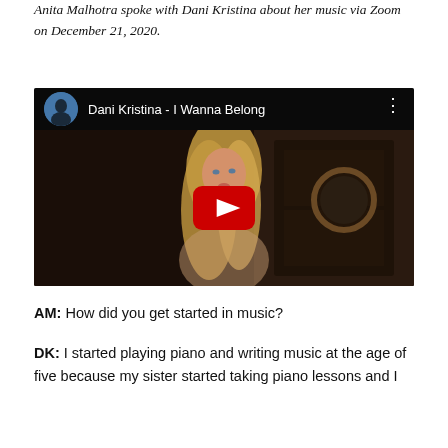Anita Malhotra spoke with Dani Kristina about her music via Zoom on December 21, 2020.
[Figure (screenshot): YouTube video embed showing 'Dani Kristina - I Wanna Belong' with a red play button in the center, a channel avatar on the top left, the video title in white text, a three-dot menu icon, and a dark cinematic background featuring a woman with long blonde hair.]
AM: How did you get started in music?
DK: I started playing piano and writing music at the age of five because my sister started taking piano lessons and I